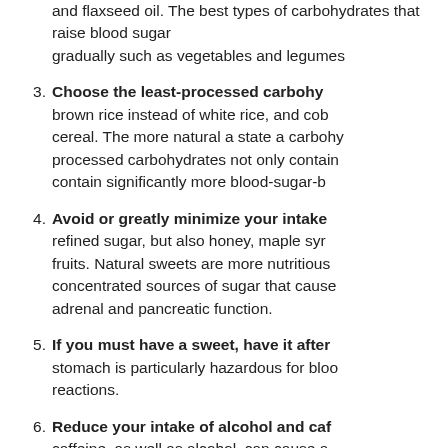and flaxseed oil. The best types of carbohydrates that raise blood sugar gradually such as vegetables and legumes...
Choose the least-processed carbohydrates: brown rice instead of white rice, and cooked cereal. The more natural a state a carbohydrate... processed carbohydrates not only contain significantly more blood-sugar-boosting...
Avoid or greatly minimize your intake of: refined sugar, but also honey, maple syrup, fruits. Natural sweets are more nutritious concentrated sources of sugar that cause adrenal and pancreatic function.
If you must have a sweet, have it after: stomach is particularly hazardous for blood sugar reactions.
Reduce your intake of alcohol and caffeine: caffeine, as well as alcohol, can cause a does, resulting in extra work for the adrenal...
Take supplements of chromium. A mineral, chromium helps normalize both high and low blood sugar, been found to alleviate common hypoglycemia percent of Americans are deficient in chromium Agriculture. Good food sources of chromium...